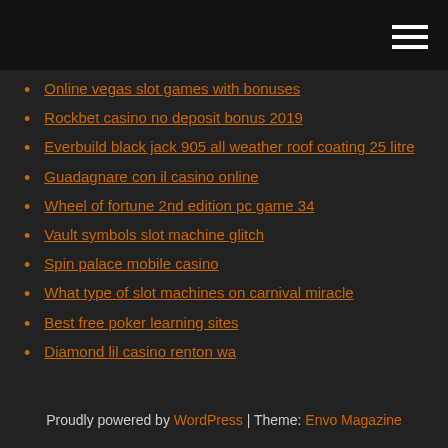Online vegas slot games with bonuses
Rockbet casino no deposit bonus 2019
Everbuild black jack 905 all weather roof coating 25 litre
Guadagnare con il casino online
Wheel of fortune 2nd edition pc game 34
Vault symbols slot machine glitch
Spin palace mobile casino
What type of slot machines on carnival miracle
Best free poker learning sites
Diamond lil casino renton wa
Proudly powered by WordPress | Theme: Envo Magazine